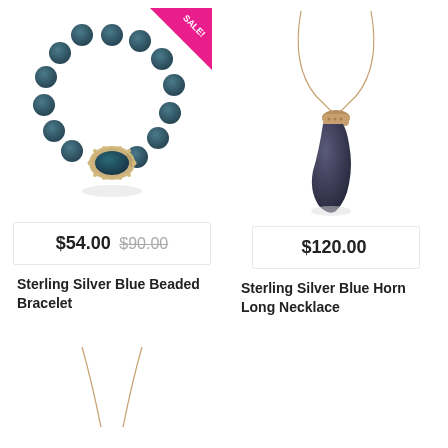[Figure (photo): Sterling silver blue beaded bracelet with sale badge, shown as circular beaded bracelet with oval gemstone center]
$54.00  $90.00 (strikethrough)
Sterling Silver Blue Beaded Bracelet
[Figure (photo): Sterling silver blue horn long necklace on rose gold chain]
$120.00
Sterling Silver Blue Horn Long Necklace
[Figure (photo): Bottom portion of necklace chains visible, partial view]